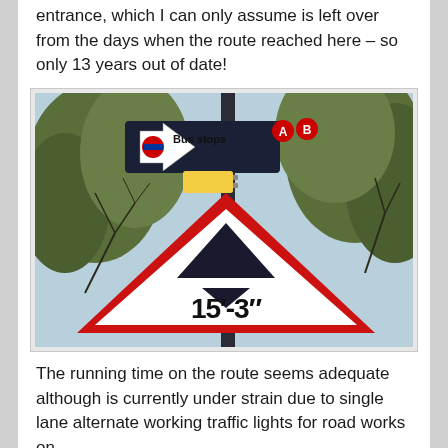entrance, which I can only assume is left over from the days when the route reached here – so only 13 years out of date!
[Figure (photo): Photo of UK road signs mounted on a pole: a white directional sign with TfL roundel reading 'Bus stops A B' pointing left, and below it a red-bordered triangular warning sign showing two triangles (height restriction symbols) with the text '15’-3”'. Trees visible in background.]
The running time on the route seems adequate although is currently under strain due to single lane alternate working traffic lights for road works on